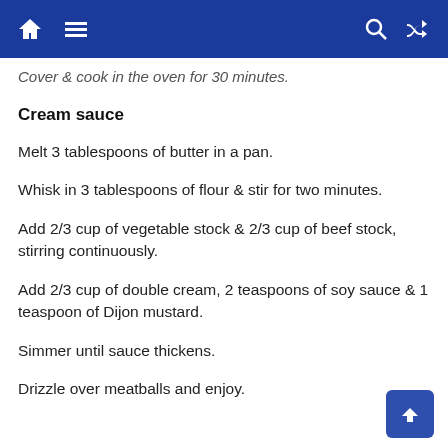Navigation bar with home, menu, search, and shuffle icons
Cover & cook in the oven for 30 minutes.
Cream sauce
Melt 3 tablespoons of butter in a pan.
Whisk in 3 tablespoons of flour & stir for two minutes.
Add 2/3 cup of vegetable stock & 2/3 cup of beef stock, stirring continuously.
Add 2/3 cup of double cream, 2 teaspoons of soy sauce & 1 teaspoon of Dijon mustard.
Simmer until sauce thickens.
Drizzle over meatballs and enjoy.